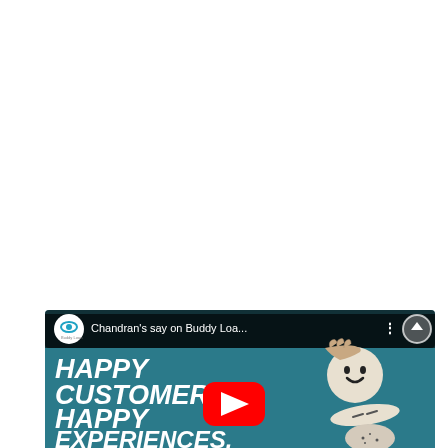[Figure (screenshot): YouTube video thumbnail screenshot showing a Buddy Loan channel video titled 'Chandran's say on Buddy Loa...' with white text reading 'HAPPY CUSTOMERS HAPPY EXPERIENCES.' on a teal/blue background, with a hand balancing cartoon-faced stones on the right side, and a red YouTube play button in the center.]